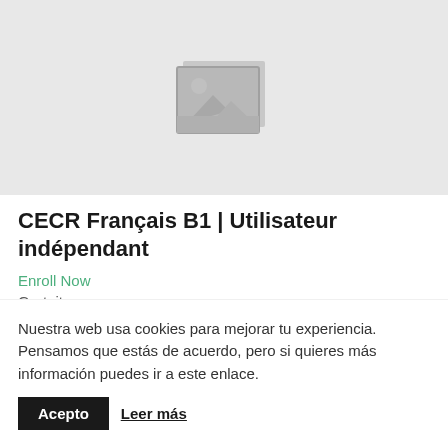[Figure (illustration): Placeholder image with grey background showing a generic image icon (rectangle with mountain/sun shapes)]
CECR Français B1  |  Utilisateur indépendant
Enroll Now
Gratuito
Nuestra web usa cookies para mejorar tu experiencia. Pensamos que estás de acuerdo, pero si quieres más información puedes ir a este enlace.
Acepto
Leer más